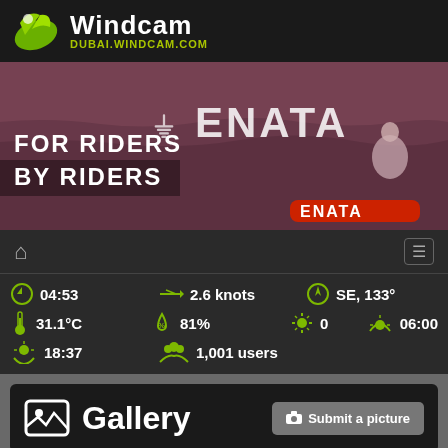Windcam DUBAI.WINDCAM.COM
[Figure (photo): Windcam banner advertisement for ENATA brand showing kitesurfers on water with text 'FOR RIDERS BY RIDERS']
04:53  2.6 knots  SE, 133°  31.1°C  81%  0  06:00  18:37  1,001 users
Gallery
Submit a picture